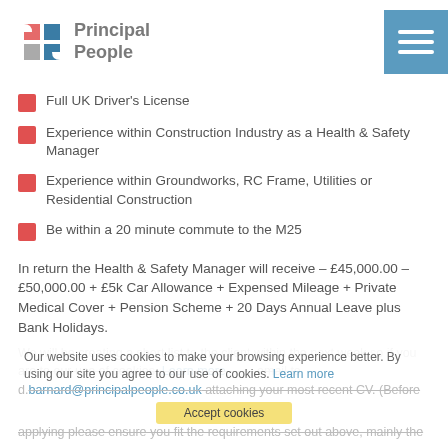[Figure (logo): Principal People logo with blue geometric icon and grey text]
Full UK Driver's License
Experience within Construction Industry as a Health & Safety Manager
Experience within Groundworks, RC Frame, Utilities or Residential Construction
Be within a 20 minute commute to the M25
In return the Health & Safety Manager will receive – £45,000.00 – £50,000.00 + £5k Car Allowance + Expensed Mileage + Private Medical Cover + Pension Scheme + 20 Days Annual Leave plus Bank Holidays.
We will be creating a short list to the client within the next week so if you are...email to d.barnard@principalpeople.co.uk attaching your most recent CV. (Before applying please ensure you fit the requirements set out above, mainly the
Our website uses cookies to make your browsing experience better. By using our site you agree to our use of cookies. Learn more